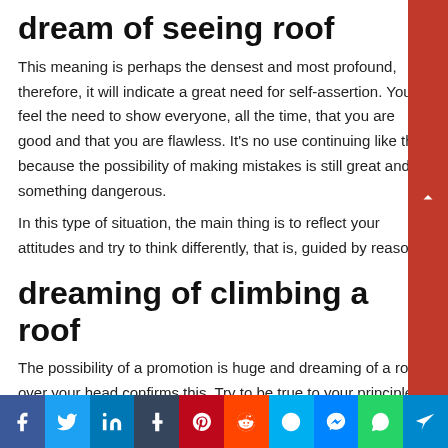dream of seeing roof
This meaning is perhaps the densest and most profound, therefore, it will indicate a great need for self-assertion. You feel the need to show everyone, all the time, that you are good and that you are flawless. It's no use continuing like this, because the possibility of making mistakes is still great and something dangerous.
In this type of situation, the main thing is to reflect your attitudes and try to think differently, that is, guided by reason.
dreaming of climbing a roof
The possibility of a promotion is huge and dreaming of a roof over your head confirms this. Try to be true to your principles
Social share bar: Facebook, Twitter, LinkedIn, Tumblr, Pinterest, Reddit, Skype, Messenger, WhatsApp, Telegram